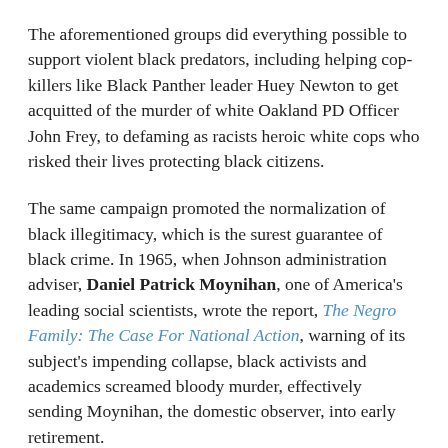The aforementioned groups did everything possible to support violent black predators, including helping cop-killers like Black Panther leader Huey Newton to get acquitted of the murder of white Oakland PD Officer John Frey, to defaming as racists heroic white cops who risked their lives protecting black citizens.
The same campaign promoted the normalization of black illegitimacy, which is the surest guarantee of black crime. In 1965, when Johnson administration adviser, Daniel Patrick Moynihan, one of America's leading social scientists, wrote the report, The Negro Family: The Case For National Action, warning of its subject's impending collapse, black activists and academics screamed bloody murder, effectively sending Moynihan, the domestic observer, into early retirement.
[Note that the Department of Labor has disabled all links to the report's introduction and table of contents, and to